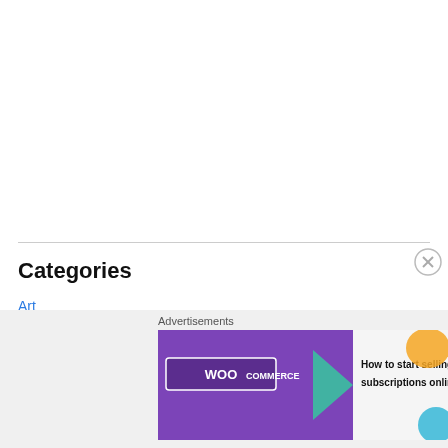Categories
Art
Awards
Book Reviews
[Figure (screenshot): WooCommerce advertisement banner with text 'How to start selling subscriptions online']
Advertisements